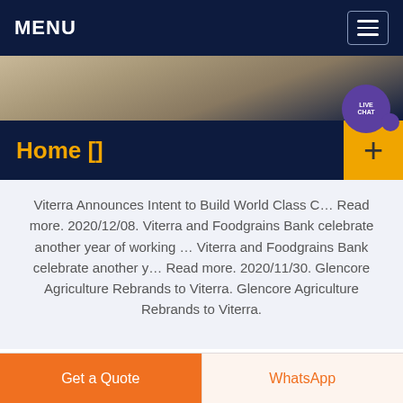MENU
[Figure (photo): Aerial or ground-level photo of a dirt road through agricultural land, with dark navy fade at bottom. Live Chat bubble overlay in purple on the right side.]
Home []
Viterra Announces Intent to Build World Class C… Read more. 2020/12/08. Viterra and Foodgrains Bank celebrate another year of working … Viterra and Foodgrains Bank celebrate another y… Read more. 2020/11/30. Glencore Agriculture Rebrands to Viterra. Glencore Agriculture Rebrands to Viterra.
Get a Quote
WhatsApp